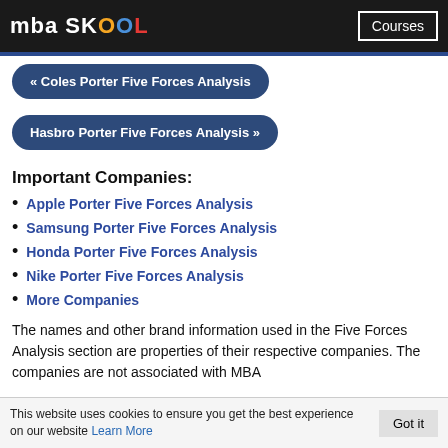mba SKOOL | Courses
« Coles Porter Five Forces Analysis
Hasbro Porter Five Forces Analysis »
Important Companies:
Apple Porter Five Forces Analysis
Samsung Porter Five Forces Analysis
Honda Porter Five Forces Analysis
Nike Porter Five Forces Analysis
More Companies
The names and other brand information used in the Five Forces Analysis section are properties of their respective companies. The companies are not associated with MBA
This website uses cookies to ensure you get the best experience on our website Learn More | Got it